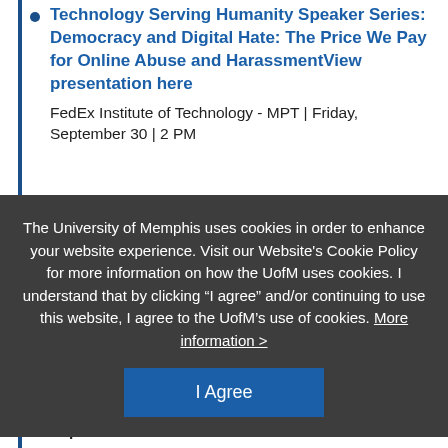Technology Serving Humanity Speaker Series: Democracy and Digital Hate: The Price We Pay for Online Abuse and HarassmentView presentation here
FedEx Institute of Technology - MPT | Friday, September 30 | 2 PM
The University of Memphis uses cookies in order to enhance your website experience. Visit our Website's Cookie Policy for more information on how the UofM uses cookies. I understand that by clicking “I agree” and/or continuing to use this website, I agree to the UofM’s use of cookies. More information >
I Agree
September 7